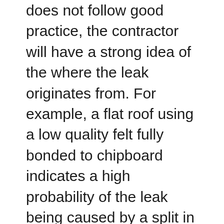does not follow good practice, the contractor will have a strong idea of the where the leak originates from. For example, a flat roof using a low quality felt fully bonded to chipboard indicates a high probability of the leak being caused by a split in the felt above a panel joint. This will save the contractor a lot of time as they can make their first port of call to trace and inspect all of the roofs panel joints.
Sometimes splits in a flat roof are not easy to identify. One way to try and overcome this difficulty is to tread